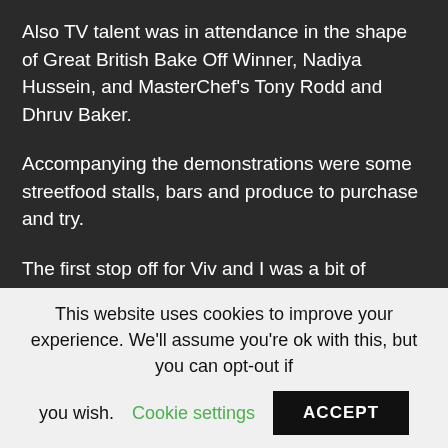Also TV talent was in attendance in the shape of Great British Bake Off Winner, Nadiya Hussein, and MasterChef's Tony Rodd and Dhruv Baker.
Accompanying the demonstrations were some streetfood stalls, bars and produce to purchase and try.
The first stop off for Viv and I was a bit of Caribbean spice in the shape of the Levi Roots camper van, serving up wings and nibbles. Wifey managed to grab a wing smothered in Reggae Reggae sauce, with a bit of chopped spring onion and mayo…
This website uses cookies to improve your experience. We'll assume you're ok with this, but you can opt-out if you wish. Cookie settings ACCEPT